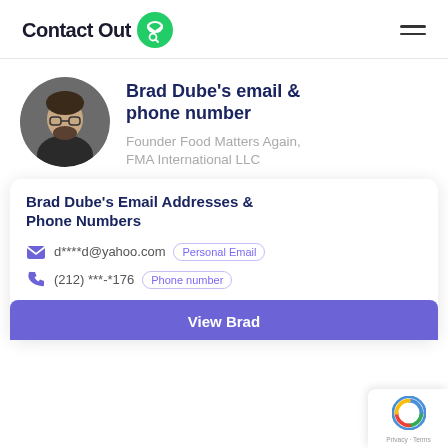ContactOut
Brad Dube's email & phone number
Founder Food Matters Again, FMA International LLC
Brad Dube's Email Addresses & Phone Numbers
d****d@yahoo.com Personal Email
(212) ***-*176 Phone number
View Brad